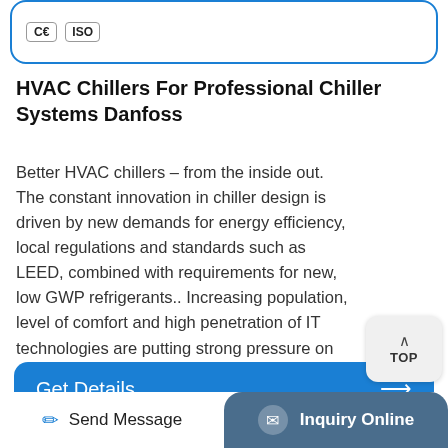[Figure (logo): CE and ISO certification badges inside a blue rounded rectangle card at the top]
HVAC Chillers For Professional Chiller Systems Danfoss
Better HVAC chillers – from the inside out. The constant innovation in chiller design is driven by new demands for energy efficiency, local regulations and standards such as LEED, combined with requirements for new, low GWP refrigerants.. Increasing population, level of comfort and high penetration of IT technologies are putting strong pressure on electric grids and driving up ...
[Figure (other): TOP scroll-to-top button with up arrow and TOP label]
Get Details →
Send Message    Inquiry Online